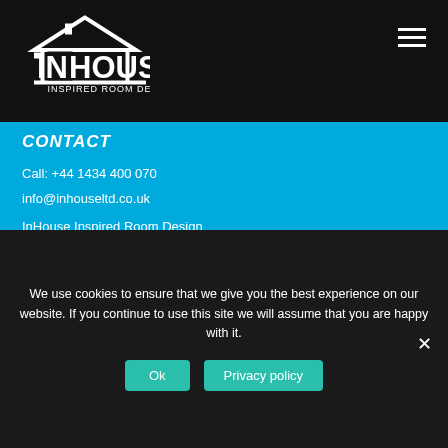[Figure (logo): InHouse Inspired Room Design logo - white house icon with text on black background]
CONTACT
Call: +44 1434 400 070
info@inhouseltd.co.uk
InHouse Inspired Room Design
Bridge End Industrial Estate
Hexham, Northumberland
NE46 4DQ
We use cookies to ensure that we give you the best experience on our website. If you continue to use this site we will assume that you are happy with it.